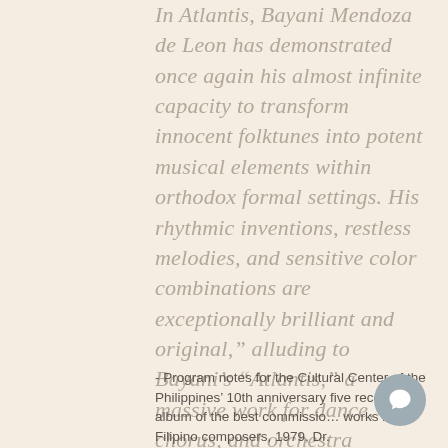In Atlantis, Bayani Mendoza de Leon has demonstrated once again his almost infinite capacity to transform innocent folktunes into potent musical elements within orthodox formal settings. His rhythmic inventions, restless melodies, and sensitive color combinations are exceptionally brilliant and original," alluding to Bayani's "Atlantis," a massive work for dance, chorus, and orchestra
- Program notes for the Cultural Center of the Philippines' 10th anniversary five records album of the best commissioned works by Filipino composers, 1979, Dr.